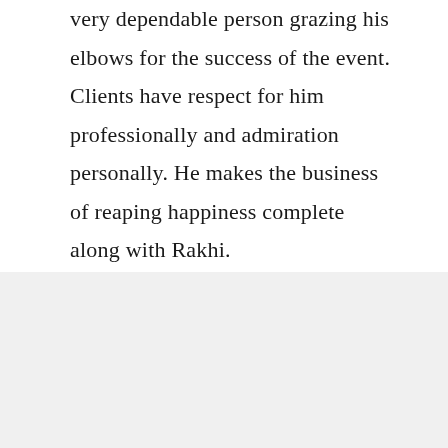very dependable person grazing his elbows for the success of the event. Clients have respect for him professionally and admiration personally. He makes the business of reaping happiness complete along with Rakhi.
What Client Say